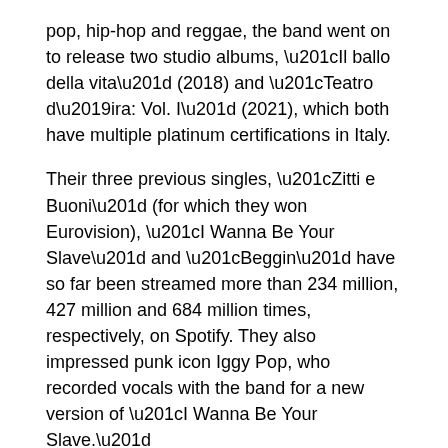pop, hip-hop and reggae, the band went on to release two studio albums, “Il ballo della vita” (2018) and “Teatro d’ira: Vol. I” (2021), which both have multiple platinum certifications in Italy.
Their three previous singles, “Zitti e Buoni” (for which they won Eurovision), “I Wanna Be Your Slave” and “Beggin” have so far been streamed more than 234 million, 427 million and 684 million times, respectively, on Spotify. They also impressed punk icon Iggy Pop, who recorded vocals with the band for a new version of “I Wanna Be Your Slave.”
Moonlight
[Figure (other): Advertisement overlay showing a blonde woman in yellow sweater with text 'How Stress Affects Psoriasis' and sponsor label 'Sponsored | HealthCentral.com']
Most re… “Moonlight” in Danish, becam… nd to score nominations in the Best Rock and Best Group categories of the MTV Europe Music